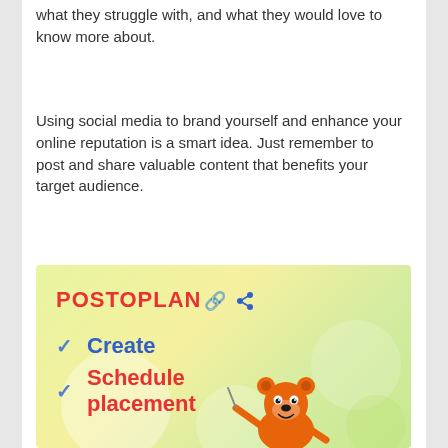what they struggle with, and what they would love to know more about.
Using social media to brand yourself and enhance your online reputation is a smart idea. Just remember to post and share valuable content that benefits your target audience.
[Figure (infographic): POSTOPLAN advertisement with green/yellow gradient background. Shows the POSTOPLAN logo in red with a blue share icon, two checkmarks with 'Create' in blue and 'Schedule placement' in red, and an orange cartoon bear mascot holding a pointer at the bottom.]